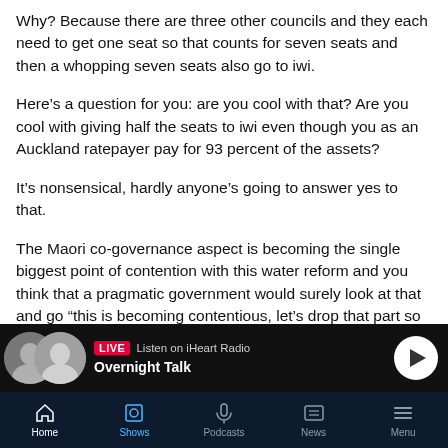Why? Because there are three other councils and they each need to get one seat so that counts for seven seats and then a whopping seven seats also go to iwi.
Here’s a question for you: are you cool with that? Are you cool with giving half the seats to iwi even though you as an Auckland ratepayer pay for 93 percent of the assets?
It’s nonsensical, hardly anyone’s going to answer yes to that.
The Maori co-governance aspect is becoming the single biggest point of contention with this water reform and you think that a pragmatic government would surely look at that and go “this is becoming contentious, let’s drop that part so
LIVE  Listen on iHeart Radio
Overnight Talk
Home  Shows  Podcasts  News  Menu